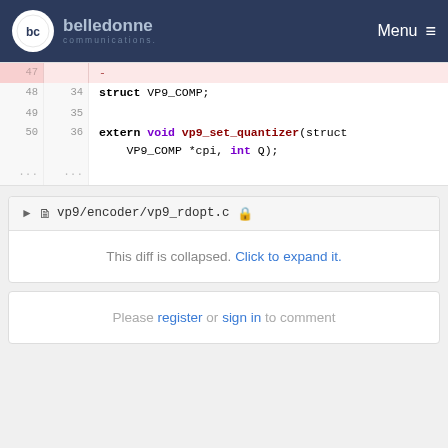belledonne communications Menu
[Figure (screenshot): Code diff showing deleted line 47 and unchanged lines 48-50 with C code including vp9_quantize_sbuv_4x4, struct VP9_COMP, and extern void vp9_set_quantizer declarations]
vp9/encoder/vp9_rdopt.c
This diff is collapsed. Click to expand it.
Please register or sign in to comment